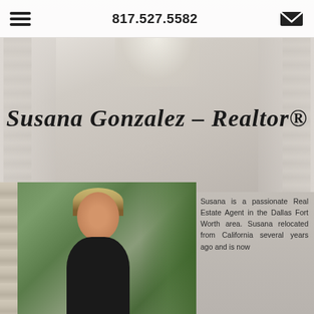817.527.5582
Susana Gonzalez – Realtor®
[Figure (photo): Portrait photo of Susana Gonzalez, a young woman with highlighted hair wearing a black outfit, posed outdoors near a stone column with green foliage background]
Susana is a passionate Real Estate Agent in the Dallas Fort Worth area. Susana relocated from California several years ago and is now